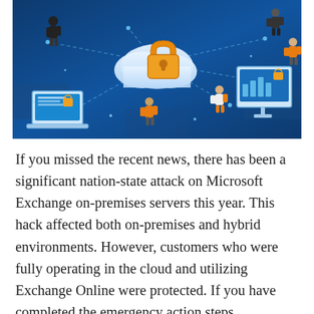[Figure (illustration): Isometric illustration on a dark blue background showing cloud security concept: a large orange padlock sits atop a white cloud in the center, connected by dashed network lines to multiple screens (laptop, monitors, tablets) with locks on them, and several people figures in orange and dark clothing standing around the devices.]
If you missed the recent news, there has been a significant nation-state attack on Microsoft Exchange on-premises servers this year. This hack affected both on-premises and hybrid environments. However, customers who were fully operating in the cloud and utilizing Exchange Online were protected. If you have completed the emergency action steps recommended in my last blog post and are now considering how to